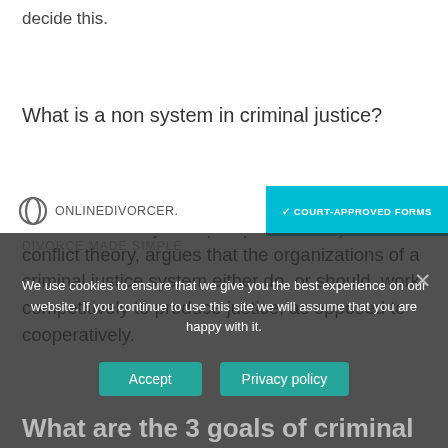decide this.
What is a non system in criminal justice?
The conflict model of criminal justice, sometimes called the non-system perspective or system conflict theory, argues that the organizations of a criminal justice system either do, or should, work competitively to produce justice, as opposed to cooperatively.
[Figure (screenshot): OnlineDivorcercer website branding with logo and court-approved forms button in teal]
We use cookies to ensure that we give you the best experience on our website. If you continue to use this site we will assume that you are happy with it.
What are the 3 goals of criminal